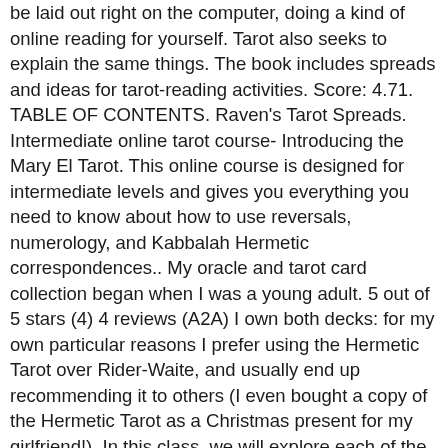be laid out right on the computer, doing a kind of online reading for yourself. Tarot also seeks to explain the same things. The book includes spreads and ideas for tarot-reading activities. Score: 4.71. TABLE OF CONTENTS. Raven's Tarot Spreads. Intermediate online tarot course- Introducing the Mary El Tarot. This online course is designed for intermediate levels and gives you everything you need to know about how to use reversals, numerology, and Kabbalah Hermetic correspondences.. My oracle and tarot card collection began when I was a young adult. 5 out of 5 stars (4) 4 reviews (A2A) I own both decks: for my own particular reasons I prefer using the Hermetic Tarot over Rider-Waite, and usually end up recommending it to others (I even bought a copy of the Hermetic Tarot as a Christmas present for my girlfriend!). In this class, we will explore each of the seven principles and discuss cards from the Tarot that are directly related to each of these principles to help us gain a better understanding of both. thanks in advance Once you start working with tarot spreads you'll soon discover more and more spreads to try out. Here are the three easiest ones for your initiation to this